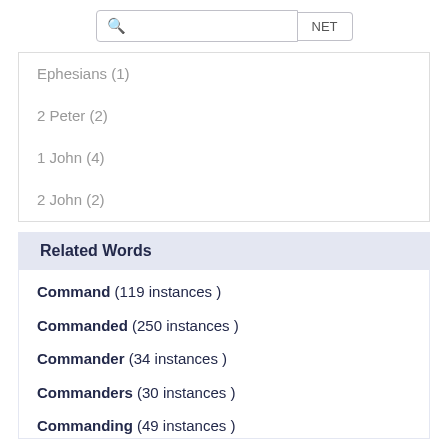Ephesians (1)
2 Peter (2)
1 John (4)
2 John (2)
Related Words
Command (119 instances )
Commanded (250 instances )
Commander (34 instances )
Commanders (30 instances )
Commanding (49 instances )